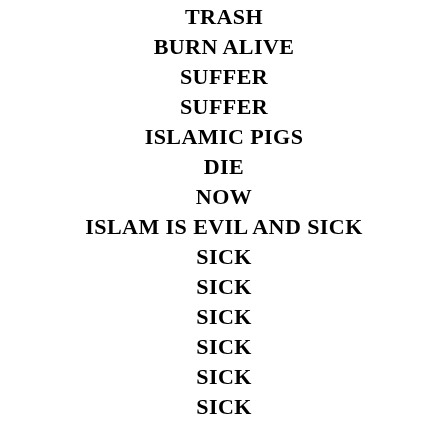TRASH
BURN ALIVE
SUFFER
SUFFER
ISLAMIC PIGS
DIE
NOW
ISLAM IS EVIL AND SICK
SICK
SICK
SICK
SICK
SICK
SICK